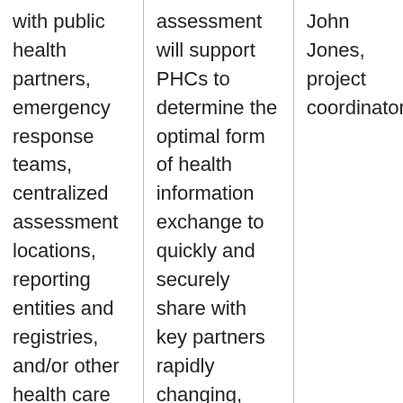| with public health partners, emergency response teams, centralized assessment locations, reporting entities and registries, and/or other health care providers.

We will | assessment will support PHCs to determine the optimal form of health information exchange to quickly and securely share with key partners rapidly changing, high priority information, including data related to | John Jones, project coordinator |